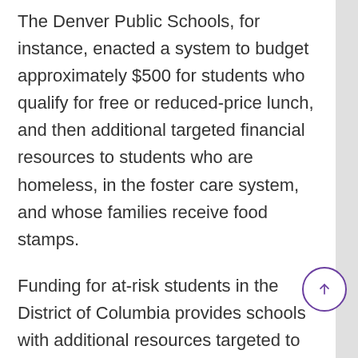The Denver Public Schools, for instance, enacted a system to budget approximately $500 for students who qualify for free or reduced-price lunch, and then additional targeted financial resources to students who are homeless, in the foster care system, and whose families receive food stamps.
Funding for at-risk students in the District of Columbia provides schools with additional resources targeted to support students who have experienced homelessness, the foster care system, high school students who are over-age and under-accredited, and those eligible for the Temporary Assistance for Needy Families and